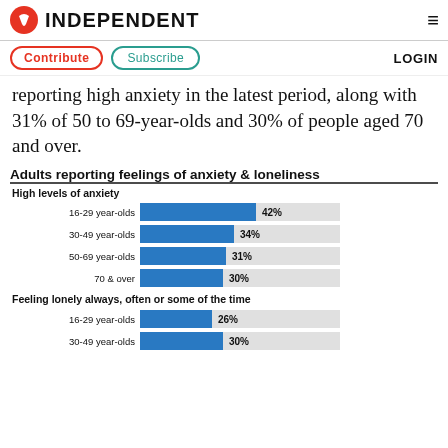INDEPENDENT
reporting high anxiety in the latest period, along with 31% of 50 to 69-year-olds and 30% of people aged 70 and over.
[Figure (bar-chart): Adults reporting feelings of anxiety & loneliness]